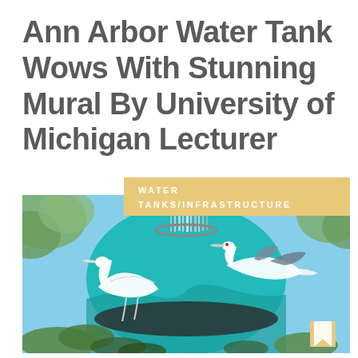Ann Arbor Water Tank Wows With Stunning Mural By University of Michigan Lecturer
WATER TANKS/INFRASTRUCTURE
[Figure (photo): A water tower decorated with a teal mural featuring large white herons/cranes in flight, set against a blue sky with trees in the foreground and background.]